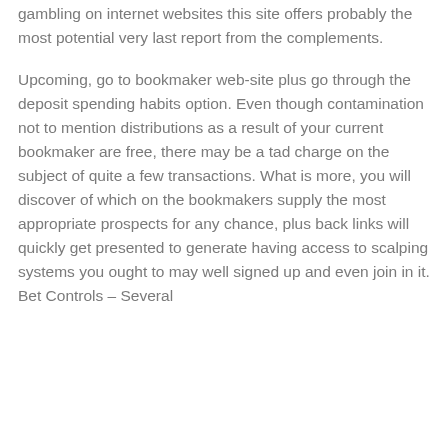gambling on internet websites this site offers probably the most potential very last report from the complements.
Upcoming, go to bookmaker web-site plus go through the deposit spending habits option. Even though contamination not to mention distributions as a result of your current bookmaker are free, there may be a tad charge on the subject of quite a few transactions. What is more, you will discover of which on the bookmakers supply the most appropriate prospects for any chance, plus back links will quickly get presented to generate having access to scalping systems you ought to may well signed up and even join in it. Bet Controls – Several